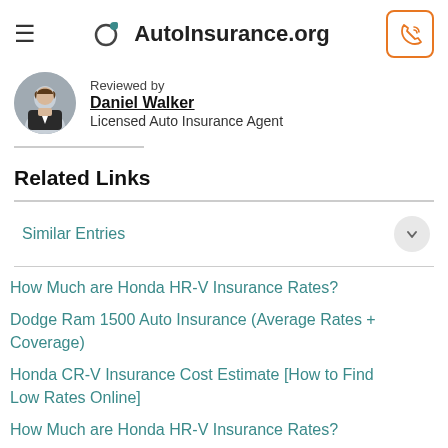AutoInsurance.org
Reviewed by Daniel Walker Licensed Auto Insurance Agent
Related Links
Similar Entries
How Much are Honda HR-V Insurance Rates?
Dodge Ram 1500 Auto Insurance (Average Rates + Coverage)
Honda CR-V Insurance Cost Estimate [How to Find Low Rates Online]
How Much are Honda HR-V Insurance Rates?